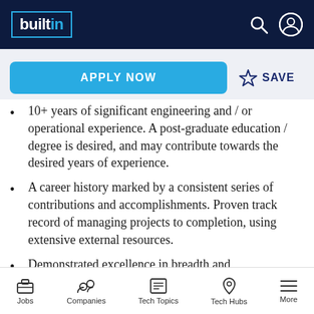builtin — navigation bar with logo, search, and user icons
APPLY NOW | SAVE
10+ years of significant engineering and / or operational experience. A post-graduate education / degree is desired, and may contribute towards the desired years of experience.
A career history marked by a consistent series of contributions and accomplishments. Proven track record of managing projects to completion, using extensive external resources.
Demonstrated excellence in breadth and
Jobs | Companies | Tech Topics | Tech Hubs | More